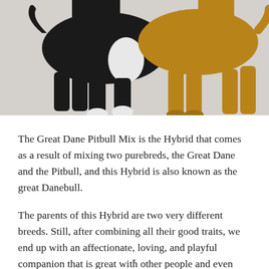[Figure (illustration): Two dog silhouettes side by side on a gray background. On the left is a black and white dog (Pitbull-type), and on the right is a tan/golden dog (Great Dane-type). Only the lower portions of the dogs are visible, showing their legs and bodies.]
The Great Dane Pitbull Mix is the Hybrid that comes as a result of mixing two purebreds, the Great Dane and the Pitbull, and this Hybrid is also known as the great Danebull.
The parents of this Hybrid are two very different breeds. Still, after combining all their good traits, we end up with an affectionate, loving, and playful companion that is great with other people and even
×